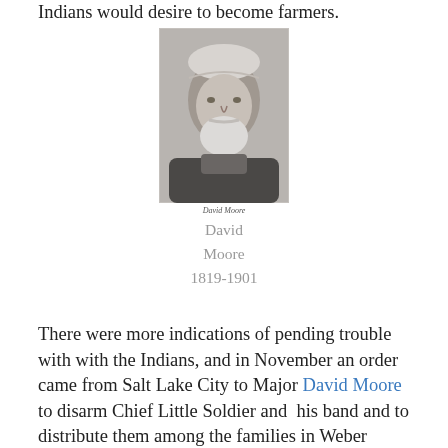Indians would desire to become farmers.
[Figure (photo): Black and white portrait photograph of David Moore, an elderly man with a white beard.]
David Moore
1819-1901
There were more indications of pending trouble with with the Indians, and in November an order came from Salt Lake City to Major David Moore to disarm Chief Little Soldier and his band and to distribute them among the families in Weber County where they were best able to feed and clothe them for the winter. In Ogden Major Moore and James S. Brown asked the Indians to disarm and to pitch their tents with the white men and share the chores